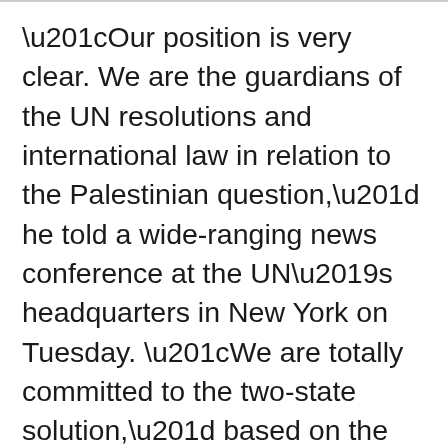“Our position is very clear. We are the guardians of the UN resolutions and international law in relation to the Palestinian question,” he told a wide-ranging news conference at the UN’s headquarters in New York on Tuesday. “We are totally committed to the two-state solution,” based on the 1967 borders.
Also on Tuesday, the European Union’s foreign policy chief Josep Borrell rejected the annexation clause featured in Trump’s plan.
EU governments attach no legal status to the settlements built in the West Bank and Syria’s Golan Heights since Israel’s occupation of the